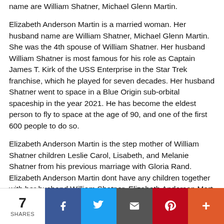name are William Shatner, Michael Glenn Martin.
Elizabeth Anderson Martin is a married woman. Her husband name are William Shatner, Michael Glenn Martin. She was the 4th spouse of William Shatner. Her husband William Shatner is most famous for his role as Captain James T. Kirk of the USS Enterprise in the Star Trek franchise, which he played for seven decades. Her husband Shatner went to space in a Blue Origin sub-orbital spaceship in the year 2021. He has become the eldest person to fly to space at the age of 90, and one of the first 600 people to do so.
Elizabeth Anderson Martin is the step mother of William Shatner children Leslie Carol, Lisabeth, and Melanie Shatner from his previous marriage with Gloria Rand. Elizabeth Anderson Martin dont have any children together with her husband William Shatner. Elizabeth Anderson Mart and William Shatner got divorced in 2020.
Elizabeth Anderson Martin was previously married to Michael
7 SHARES | Facebook | Twitter | Email | Pinterest | More